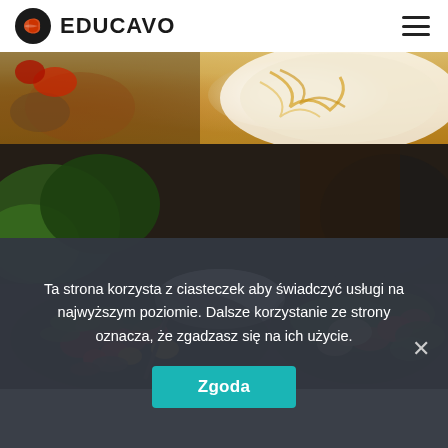[Figure (logo): Educavo logo with orange circle/leaf icon and bold text EDUCAVO]
[Figure (photo): Top portion of a food photo showing a plate with pasta/noodles dish, warm tones]
[Figure (photo): Main food photo showing a restaurant table with salad plates including meat, vegetables, greens on dark background]
Ta strona korzysta z ciasteczek aby świadczyć usługi na najwyższym poziomie. Dalsze korzystanie ze strony oznacza, że zgadzasz się na ich użycie.
Zgoda